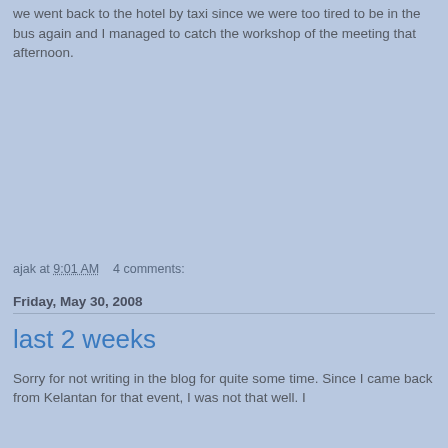we went back to the hotel by taxi since we were too tired to be in the bus again and I managed to catch the workshop of the meeting that afternoon.
ajak at 9:01 AM    4 comments:
Friday, May 30, 2008
last 2 weeks
Sorry for not writing in the blog for quite some time. Since I came back from Kelantan for that event, I was not that well. I